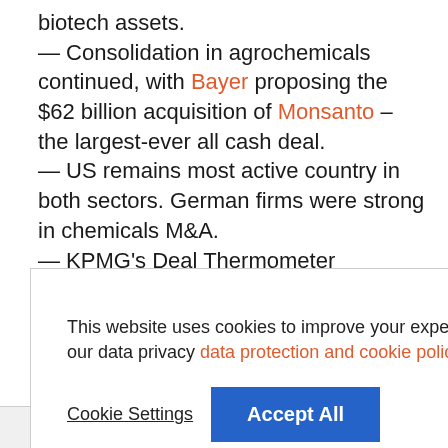biotech assets. — Consolidation in agrochemicals continued, with Bayer proposing the $62 billion acquisition of Monsanto – the largest-ever all cash deal. — US remains most active country in both sectors. German firms were strong in chemicals M&A. — KPMG's Deal Thermometer indicates that the environment for M&A activity
This website uses cookies to improve your experience. To find out more, read our data privacy data protection and cookie policy
Cookie Settings  Accept All
specialty chemicals" – Vir